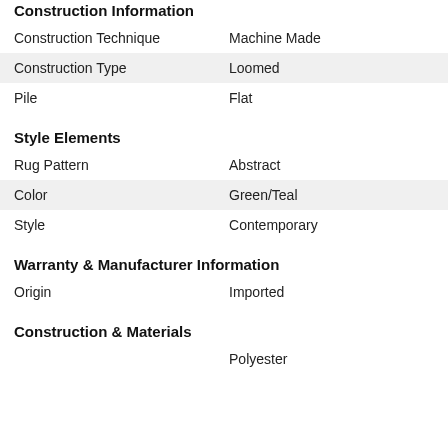Construction Information
| Construction Technique | Machine Made |
| Construction Type | Loomed |
| Pile | Flat |
Style Elements
| Rug Pattern | Abstract |
| Color | Green/Teal |
| Style | Contemporary |
Warranty & Manufacturer Information
| Origin | Imported |
Construction & Materials
|  | Polyester |